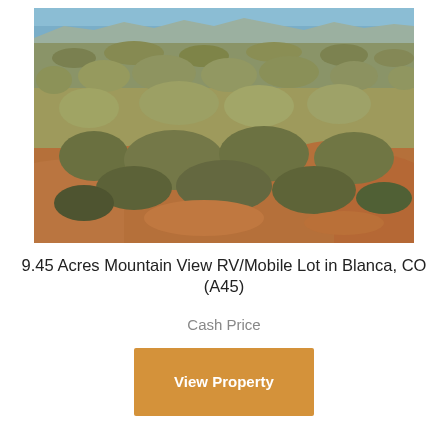[Figure (photo): Aerial/ground-level photograph of a semi-arid scrubland landscape with sagebrush and dry vegetation on reddish-brown soil, with mountains and blue sky visible in the background.]
9.45 Acres Mountain View RV/Mobile Lot in Blanca, CO (A45)
Cash Price
View Property